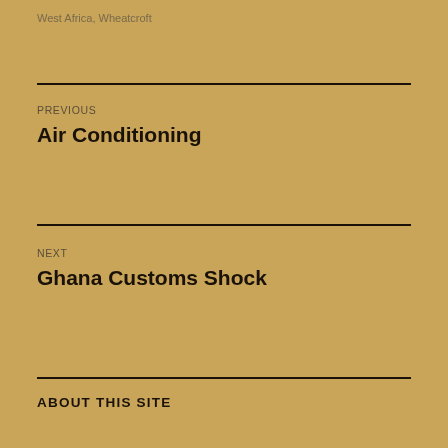West Africa, Wheatcroft
PREVIOUS
Air Conditioning
NEXT
Ghana Customs Shock
ABOUT THIS SITE